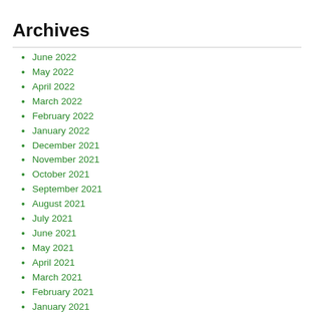Archives
June 2022
May 2022
April 2022
March 2022
February 2022
January 2022
December 2021
November 2021
October 2021
September 2021
August 2021
July 2021
June 2021
May 2021
April 2021
March 2021
February 2021
January 2021